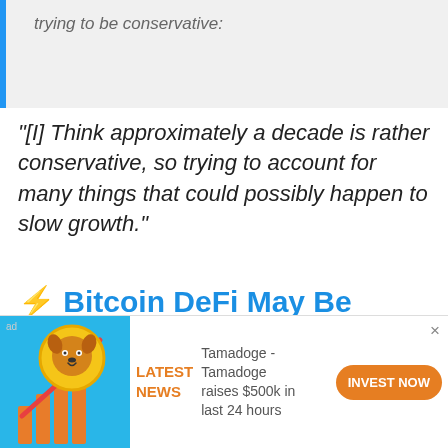trying to be conservative:
“[I] Think approximately a decade is rather conservative, so trying to account for many things that could possibly happen to slow growth.”
⚡ Bitcoin DeFi May Be Unstoppable: What Does It
[Figure (infographic): Advertisement banner with Tamadoge dog coin image on the left with bar chart and upward arrow, LATEST NEWS label in orange, text 'Tamadoge - Tamadoge raises $500k in last 24 hours', and orange INVEST NOW button. Close X in top right.]